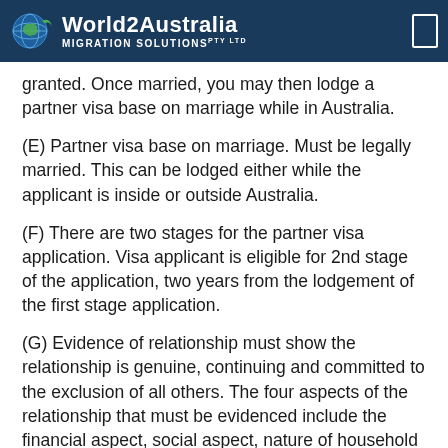World2Australia Migration Solutions
granted. Once married, you may then lodge a partner visa base on marriage while in Australia.
(E) Partner visa base on marriage. Must be legally married. This can be lodged either while the applicant is inside or outside Australia.
(F) There are two stages for the partner visa application. Visa applicant is eligible for 2nd stage of the application, two years from the lodgement of the first stage application.
(G) Evidence of relationship must show the relationship is genuine, continuing and committed to the exclusion of all others. The four aspects of the relationship that must be evidenced include the financial aspect, social aspect, nature of household and nature of commitment.